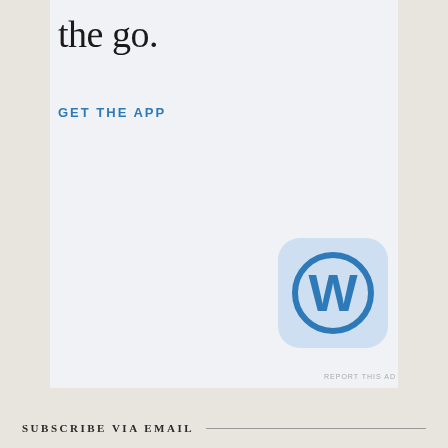the go.
GET THE APP
[Figure (logo): WordPress app icon — rounded square with light blue background containing the WordPress W logo in blue]
REPORT THIS AD
SUBSCRIBE VIA EMAIL